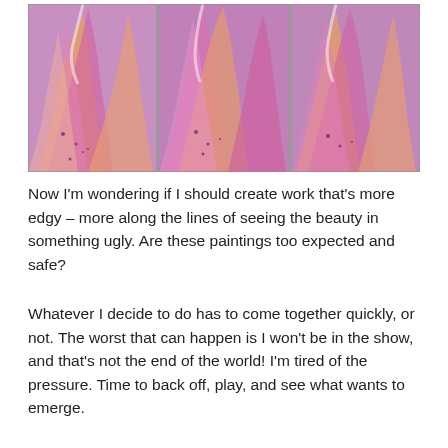[Figure (photo): Three-panel abstract acrylic painting with swirling purple, orange, pink, and white colors arranged as a triptych on a gray surface.]
Now I'm wondering if I should create work that's more edgy – more along the lines of seeing the beauty in something ugly. Are these paintings too expected and safe?
Whatever I decide to do has to come together quickly, or not. The worst that can happen is I won't be in the show, and that's not the end of the world! I'm tired of the pressure. Time to back off, play, and see what wants to emerge.